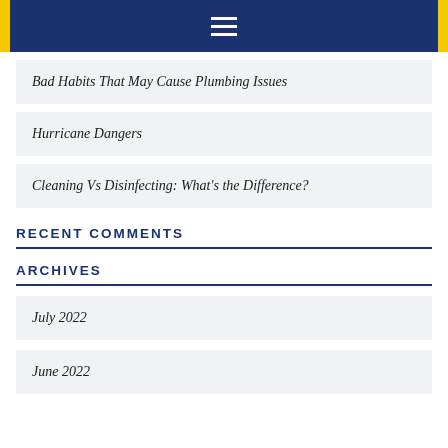Navigation menu bar
Bad Habits That May Cause Plumbing Issues
Hurricane Dangers
Cleaning Vs Disinfecting: What's the Difference?
RECENT COMMENTS
ARCHIVES
July 2022
June 2022